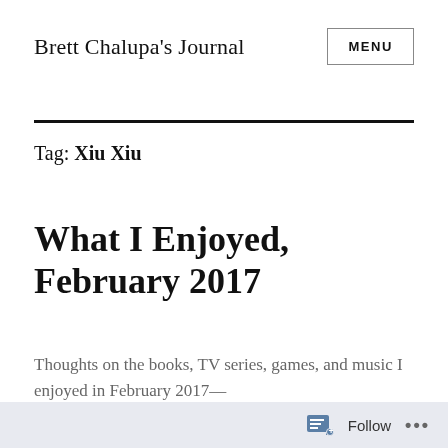Brett Chalupa's Journal
Tag: Xiu Xiu
What I Enjoyed, February 2017
Thoughts on the books, TV series, games, and music I enjoyed in February 2017—
Follow ...